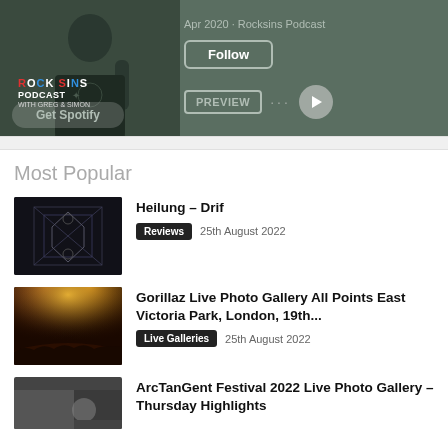[Figure (screenshot): Spotify podcast banner for Rocksins Podcast with a person in dark clothing, showing Apr 2020 date, Follow button, Get Spotify button, PREVIEW button, and play controls on a dark green background]
Most Popular
[Figure (photo): Dark image with geometric/ornamental line art design]
Heilung – Drif
Reviews  25th August 2022
[Figure (photo): Concert photo with bright orange/yellow stage lights and large crowd]
Gorillaz Live Photo Gallery All Points East Victoria Park, London, 19th...
Live Galleries  25th August 2022
[Figure (photo): Partially visible photo, dark tones, performer or instrument visible]
ArcTanGent Festival 2022 Live Photo Gallery – Thursday Highlights